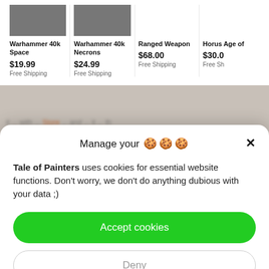[Figure (screenshot): Product listing cards showing Warhammer 40k Space, Warhammer 40k Necrons, Ranged Weapon, and Horus Age of products with prices and free shipping labels]
Manage your 🍪🍪🍪
Tale of Painters uses cookies for essential website functions. Don't worry, we don't do anything dubious with your data ;)
Accept cookies
Deny
View preferences